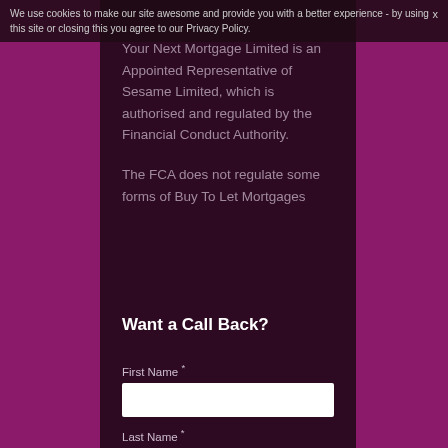We use cookies to make our site awesome and provide you with a better experience - by using this site or closing this you agree to our Privacy Policy.
Your Next Mortgage Limited is an Appointed Representative of Sesame Limited, which is authorised and regulated by the Financial Conduct Authority.

The FCA does not regulate some forms of Buy To Let Mortgages
Want a Call Back?
First Name *
Last Name *